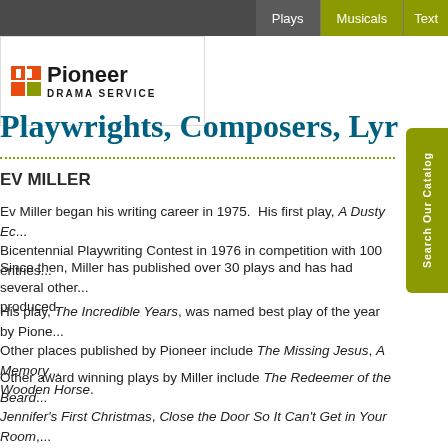Plays | Musicals | Texts
[Figure (logo): Pioneer Drama Service logo with orange/red square icon and bold black text]
Playwrights, Composers, Lyr...
EV MILLER
Ev Miller began his writing career in 1975. His first play, A Dusty Ec... Bicentennial Playwriting Contest in 1976 in competition with 100 entries...
Since then, Miller has published over 30 plays and has had several other... produced.
His play, The Incredible Years, was named best play of the year by Pione... Other places published by Pioneer include The Missing Jesus, A Memory... Wooden Horse.
Other award winning plays by Miller include The Redeemer of the Beard... Jennifer's First Christmas, Close the Door So It Can't Get in Your Room,... World Without End and The Storm Outside.